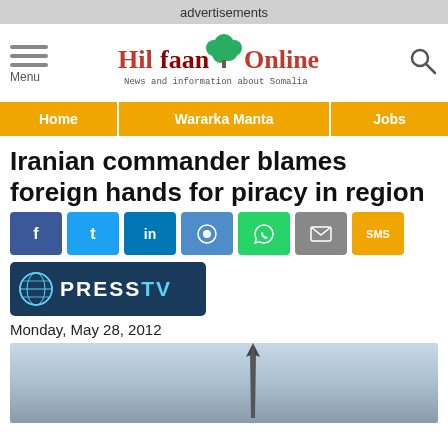advertisements
[Figure (logo): Hilfaan Online logo with tree icon and tagline 'News and information about Somalia']
Iranian commander blames foreign hands for piracy in region
[Figure (logo): PressTV logo with globe icon on dark blue background]
Monday, May 28, 2012
[Figure (photo): Photo of a missile or rocket being held up against a cloudy sky]